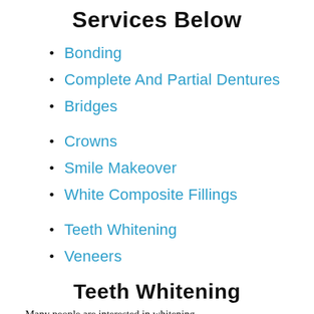Services Below
Bonding
Complete And Partial Dentures
Bridges
Crowns
Smile Makeover
White Composite Fillings
Teeth Whitening
Veneers
Teeth Whitening
Many people are interested in whitening